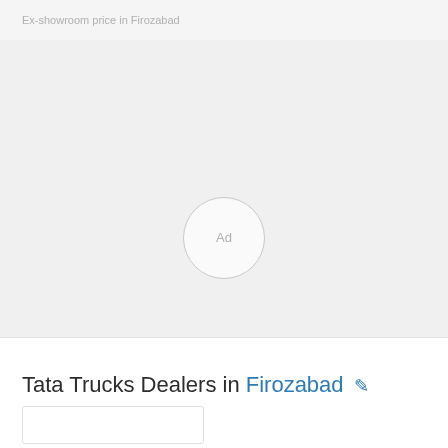Ex-showroom price in Firozabad
[Figure (other): Advertisement loading placeholder area with a circular 'Ad' indicator in the center on a light gray background]
Tata Trucks Dealers in Firozabad ✏